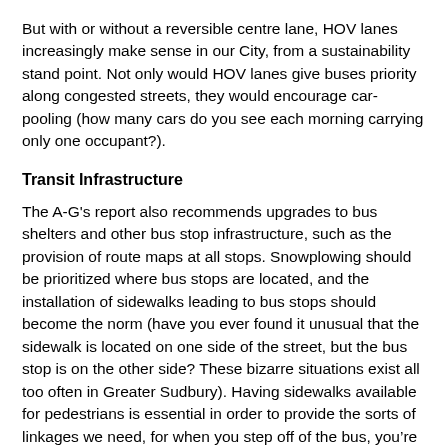But with or without a reversible centre lane, HOV lanes increasingly make sense in our City, from a sustainability stand point. Not only would HOV lanes give buses priority along congested streets, they would encourage car-pooling (how many cars do you see each morning carrying only one occupant?).
Transit Infrastructure
The A-G's report also recommends upgrades to bus shelters and other bus stop infrastructure, such as the provision of route maps at all stops. Snowplowing should be prioritized where bus stops are located, and the installation of sidewalks leading to bus stops should become the norm (have you ever found it unusual that the sidewalk is located on one side of the street, but the bus stop is on the other side? These bizarre situations exist all too often in Greater Sudbury). Having sidewalks available for pedestrians is essential in order to provide the sorts of linkages we need, for when you step off of the bus, you’re a pedestrian, and you begin to make your own route to your destination.